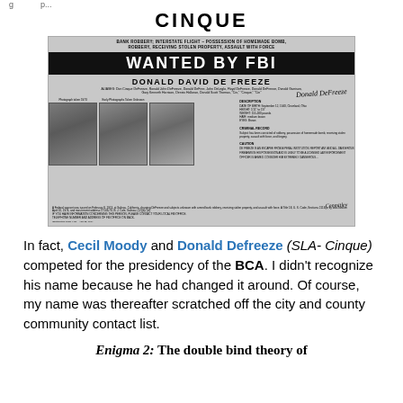g...p...
CINQUE
[Figure (photo): FBI Wanted poster for Donald David De Freeze (SLA - Cinque). Header reads: BANK ROBBERY; INTERSTATE FLIGHT - POSSESSION OF HOMEMADE BOMB, ROBBERY, RECEIVING STOLEN PROPERTY, ASSAULT WITH FORCE. WANTED BY FBI. Three mugshot photos of the subject. Signed by FBI Director.]
In fact, Cecil Moody and Donald Defreeze (SLA- Cinque) competed for the presidency of the BCA. I didn't recognize his name because he had changed it around. Of course, my name was thereafter scratched off the city and county community contact list.
Enigma 2: The double bind theory of